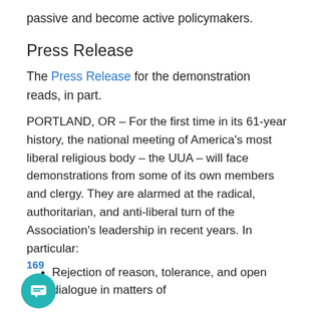passive and become active policymakers.
Press Release
The Press Release for the demonstration reads, in part.
PORTLAND, OR – For the first time in its 61-year history, the national meeting of America's most liberal religious body – the UUA – will face demonstrations from some of its own members and clergy. They are alarmed at the radical, authoritarian, and anti-liberal turn of the Association's leadership in recent years. In particular:
Rejection of reason, tolerance, and open dialogue in matters of